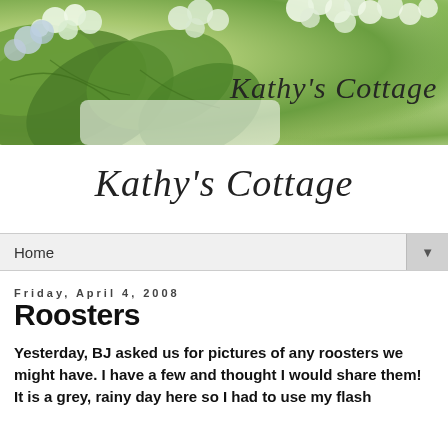[Figure (photo): Blog header banner showing green hydrangea leaves and white/blue flower blooms with the cursive text 'Kathy's Cottage' overlaid on the right side]
Kathy's Cottage
Home ▼
Friday, April 4, 2008
Roosters
Yesterday, BJ asked us for pictures of any roosters we might have. I have a few and thought I would share them! It is a grey, rainy day here so I had to use my flash